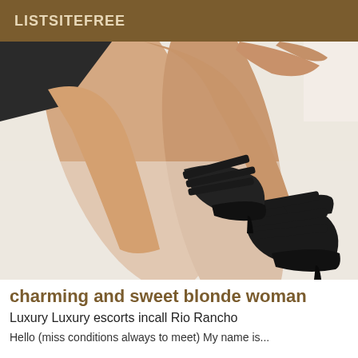LISTSITEFREE
[Figure (photo): Photo of woman's legs wearing black strappy platform high heel shoes, lying on white fur/fabric surface]
charming and sweet blonde woman
Luxury Luxury escorts incall Rio Rancho
Hello (miss conditions always to meet) My name is...